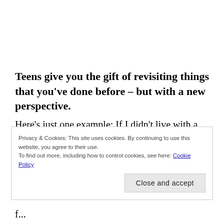Teens give you the gift of revisiting things that you've done before – but with a new perspective. Here's just one example: If I didn't live with a teen, I may never have gone back and re-read books that I read in high school.  Classics – books like The Giver, Of Mice and Men, and To Kill A Mockingbird –
Privacy & Cookies: This site uses cookies. By continuing to use this website, you agree to their use. To find out more, including how to control cookies, see here: Cookie Policy Close and accept
f...